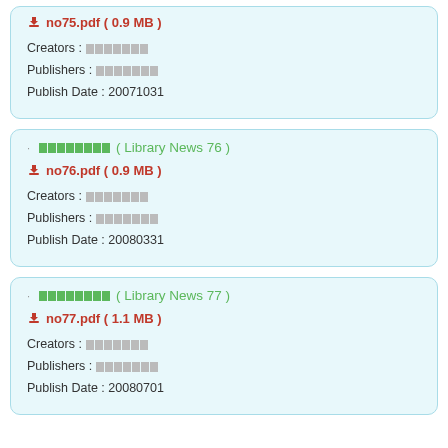no75.pdf ( 0.9 MB ) Creators : [Thai] Publishers : [Thai] Publish Date : 20071031
[Thai] ( Library News 76 ) no76.pdf ( 0.9 MB ) Creators : [Thai] Publishers : [Thai] Publish Date : 20080331
[Thai] ( Library News 77 ) no77.pdf ( 1.1 MB ) Creators : [Thai] Publishers : [Thai] Publish Date : 20080701